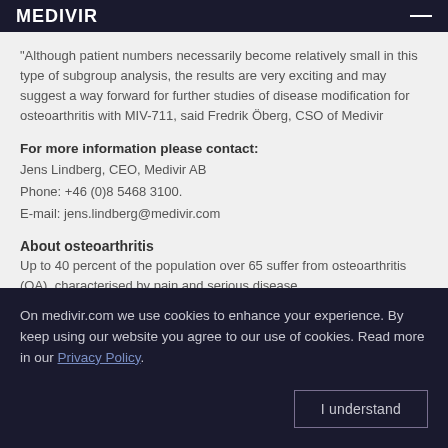MEDIVIR
"Although patient numbers necessarily become relatively small in this type of subgroup analysis, the results are very exciting and may suggest a way forward for further studies of disease modification for osteoarthritis with MIV-711, said Fredrik Öberg, CSO of Medivir
For more information please contact:
Jens Lindberg, CEO, Medivir AB
Phone: +46 (0)8 5468 3100.
E-mail: jens.lindberg@medivir.com
About osteoarthritis
Up to 40 percent of the population over 65 suffer from osteoarthritis (OA), characterised by pain and serious disease...
On medivir.com we use cookies to enhance your experience. By keep using our website you agree to our use of cookies. Read more in our Privacy Policy.